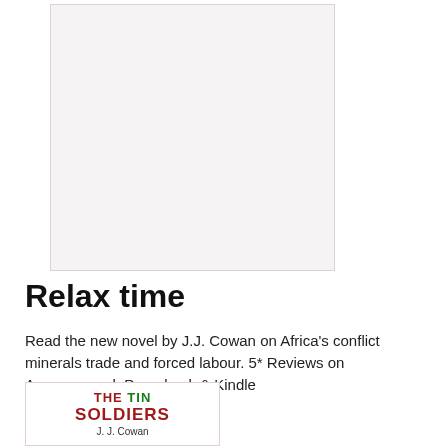[Figure (photo): A large light gray/off-white rectangular placeholder image with faint decorative pattern, bordered with a thin pinkish-red border.]
Relax time
Read the new novel by J.J. Cowan on Africa's conflict minerals trade and forced labour. 5* Reviews on Amazon.co.uk Paperback & Kindle
[Figure (illustration): Book cover for 'The Tin Soldiers' by J.J. Cowan. Title text in red and green bold letters, author name below in dark text.]